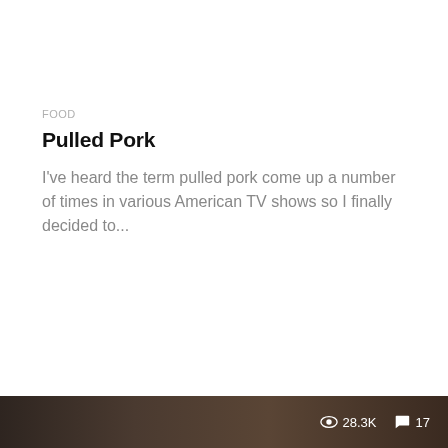FOOD
Pulled Pork
I've heard the term pulled pork come up a number of times in various American TV shows so I finally decided to...
[Figure (photo): Dark image strip showing what appears to be pulled pork meat, with view count 28.3K and comment count 17 overlaid in white text at the bottom right.]